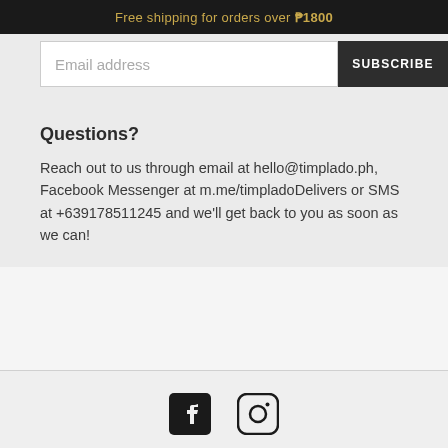Free shipping for orders over ₱1800
Email address
SUBSCRIBE
Questions?
Reach out to us through email at hello@timplado.ph, Facebook Messenger at m.me/timpladoDelivers or SMS at +639178511245 and we'll get back to you as soon as we can!
[Figure (illustration): Facebook and Instagram social media icons]
© 2022, timplado Powered by Shopify